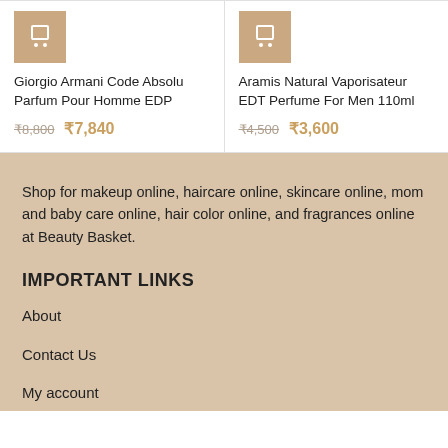[Figure (illustration): Shopping cart icon on tan/gold background for Giorgio Armani Code Absolu Parfum Pour Homme EDP]
Giorgio Armani Code Absolu Parfum Pour Homme EDP
₹8,800 ₹7,840
[Figure (illustration): Shopping cart icon on tan/gold background for Aramis Natural Vaporisateur EDT Perfume For Men 110ml]
Aramis Natural Vaporisateur EDT Perfume For Men 110ml
₹4,500 ₹3,600
Shop for makeup online, haircare online, skincare online, mom and baby care online, hair color online, and fragrances online at Beauty Basket.
IMPORTANT LINKS
About
Contact Us
My account